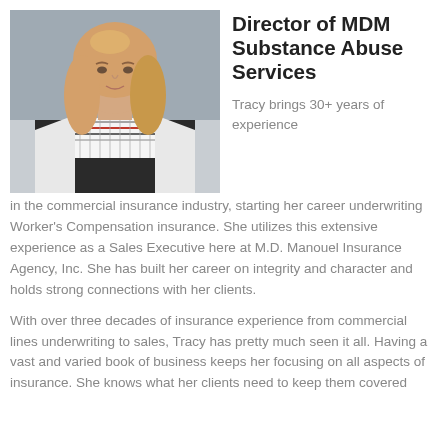[Figure (photo): Professional headshot photo of a woman with blonde hair wearing a black and white patterned top with a white blazer]
Director of MDM Substance Abuse Services
Tracy brings 30+ years of experience in the commercial insurance industry, starting her career underwriting Worker's Compensation insurance. She utilizes this extensive experience as a Sales Executive here at M.D. Manouel Insurance Agency, Inc. She has built her career on integrity and character and holds strong connections with her clients.
With over three decades of insurance experience from commercial lines underwriting to sales, Tracy has pretty much seen it all. Having a vast and varied book of business keeps her focusing on all aspects of insurance. She knows what her clients need to keep them covered